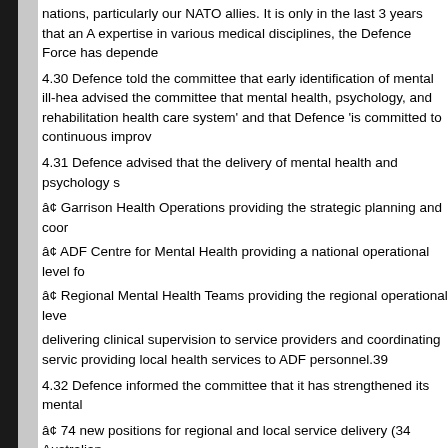nations, particularly our NATO allies. It is only in the last 3 years that an A expertise in various medical disciplines, the Defence Force has depende
4.30 Defence told the committee that early identification of mental ill-hea advised the committee that mental health, psychology, and rehabilitation health care system' and that Defence 'is committed to continuous improv
4.31 Defence advised that the delivery of mental health and psychology s
â¢ Garrison Health Operations providing the strategic planning and coor
â¢ ADF Centre for Mental Health providing a national operational level fo
â¢ Regional Mental Health Teams providing the regional operational leve
delivering clinical supervision to service providers and coordinating servic providing local health services to ADF personnel.39
4.32 Defence informed the committee that it has strengthened its mental
â¢ 74 new positions for regional and local service delivery (34 Australian
Public Service (APS) and 40 contracted providers);
â¢ seven new positions at the ADF Centre for Mental Health (four ADF, t
37 Veterans' Health Advisory Council (South Australia), Submission 55, p
38 Department of Defence, Submission 34, p. 11.
39 Department of Defence, Submission 34, pp 11.
73
â¢ 10 new positions for policy and program development (one Senior
Executive Service (SES) Level 1 and nine APS).40